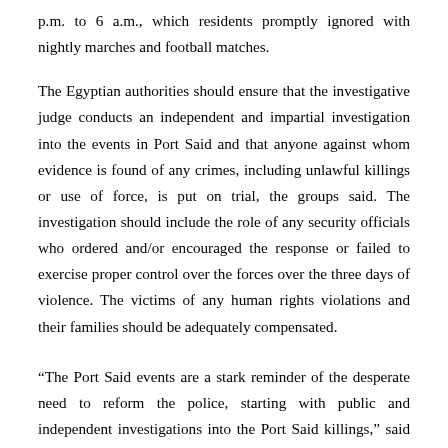p.m. to 6 a.m., which residents promptly ignored with nightly marches and football matches.
The Egyptian authorities should ensure that the investigative judge conducts an independent and impartial investigation into the events in Port Said and that anyone against whom evidence is found of any crimes, including unlawful killings or use of force, is put on trial, the groups said. The investigation should include the role of any security officials who ordered and/or encouraged the response or failed to exercise proper control over the forces over the three days of violence. The victims of any human rights violations and their families should be adequately compensated.
“The Port Said events are a stark reminder of the desperate need to reform the police, starting with public and independent investigations into the Port Said killings,” said Ziad Abdel Tawab, deputy director of the Cairo Institute for Human Rights Studies (CIHRS). “Unless there is sufficient political will to condemn such events and ensure accountability, the vicious cycle of excessive